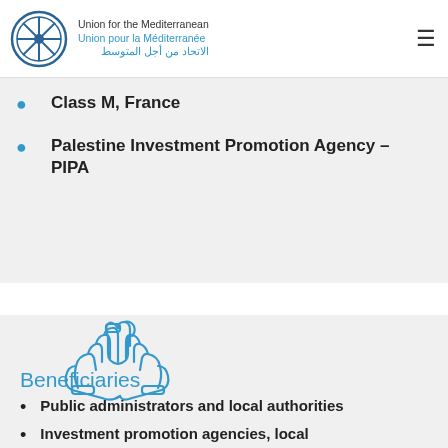Union for the Mediterranean / Union pour la Méditerranée / الاتحاد من أجل المتوسط
Class M, France
Palestine Investment Promotion Agency – PIPA
[Figure (illustration): Blue outline icon of three hands joining together at center, symbolizing cooperation or teamwork]
Beneficiaries
Public administrators and local authorities
Investment promotion agencies, local